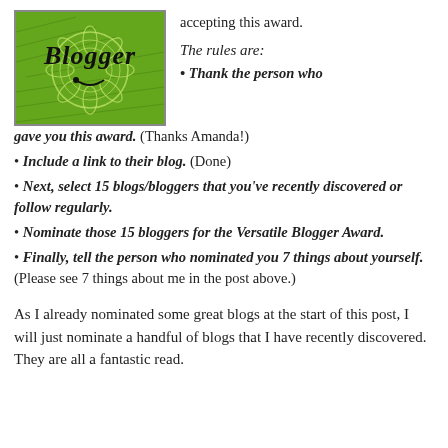[Figure (illustration): Green Versatile Blogger award badge with 'Blogger' text in decorative script and floral design on green background]
accepting this award.
The rules are:
• Thank the person who gave you this award. (Thanks Amanda!)
• Include a link to their blog. (Done)
• Next, select 15 blogs/bloggers that you've recently discovered or follow regularly.
• Nominate those 15 bloggers for the Versatile Blogger Award.
• Finally, tell the person who nominated you 7 things about yourself. (Please see 7 things about me in the post above.)
As I already nominated some great blogs at the start of this post, I will just nominate a handful of blogs that I have recently discovered. They are all a fantastic read.